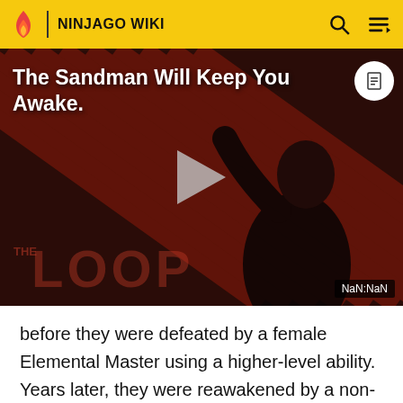NINJAGO WIKI
[Figure (screenshot): Video thumbnail showing a dark figure in black outfit against a striped red/dark background with THE LOOP text, play button overlay, and title 'The Sandman Will Keep You Awake.' with NaN:NaN timestamp]
before they were defeated by a female Elemental Master using a higher-level ability. Years later, they were reawakened by a non-human antagonist using an ancient artifact, and were defeated by a ninja using the same high-level ability to destroy the